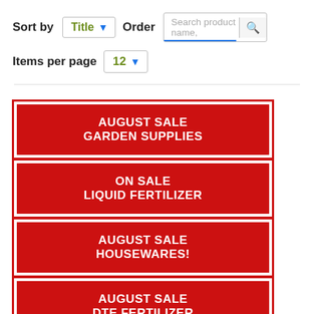Sort by Title ▼ Order [Search product name] 🔍
Items per page 12 ▼
AUGUST SALE GARDEN SUPPLIES
ON SALE LIQUID FERTILIZER
AUGUST SALE HOUSEWARES!
AUGUST SALE DTE FERTILIZER